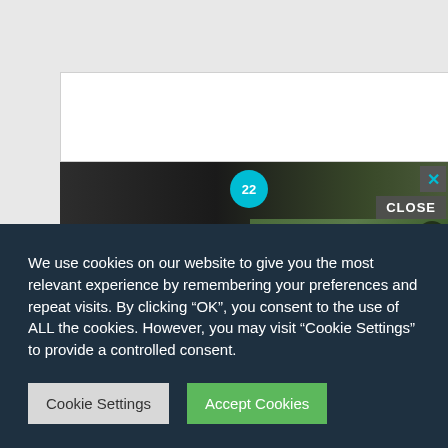[Figure (screenshot): Top gray background area with white inner content box]
[Figure (advertisement): Ad banner showing '27 ITEMS PEOPLE' text with number 22 circle badge and close/X button]
[Figure (advertisement): Lipstick/MAC cosmetics advertisement strip overlapping with video thumbnail]
[Figure (screenshot): Video thumbnail of a girl outdoors with play button overlay and close X button]
We use cookies on our website to give you the most relevant experience by remembering your preferences and repeat visits. By clicking “OK”, you consent to the use of ALL the cookies. However, you may visit "Cookie Settings" to provide a controlled consent.
Cookie Settings
Accept Cookies